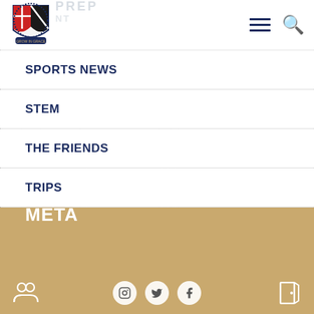[Figure (logo): School crest/shield logo with red and black colors, 'The Ellis Oval School' text around it, 'Grow in Grace' motto at bottom]
SPORTS NEWS
STEM
THE FRIENDS
TRIPS
META
[Figure (infographic): Footer bar with people/group icon on left, Instagram/Twitter/Facebook social icons in center, door/exit icon on right, all on gold background]